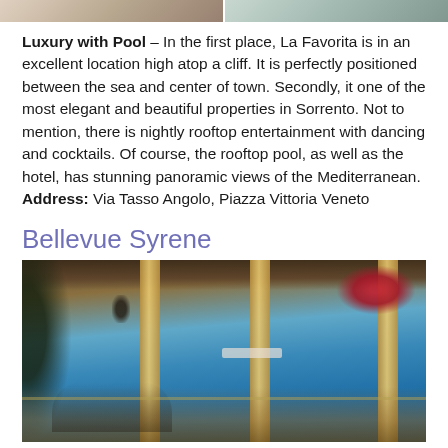[Figure (photo): Top strip showing hotel photos - bedroom and outdoor dining area]
Luxury with Pool – In the first place, La Favorita is in an excellent location high atop a cliff. It is perfectly positioned between the sea and center of town. Secondly, it one of the most elegant and beautiful properties in Sorrento. Not to mention, there is nightly rooftop entertainment with dancing and cocktails. Of course, the rooftop pool, as well as the hotel, has stunning panoramic views of the Mediterranean. Address: Via Tasso Angolo, Piazza Vittoria Veneto
Bellevue Syrene
[Figure (photo): Outdoor terrace of Bellevue Syrene with Mediterranean columns, hanging lanterns, bougainvillea flowers, sea view with cruise ship, and couple dining in foreground]
partial text visible at bottom